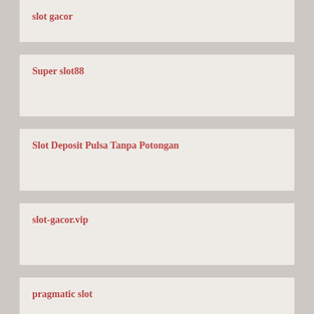slot gacor
Super slot88
Slot Deposit Pulsa Tanpa Potongan
slot-gacor.vip
pragmatic slot
judi slot online